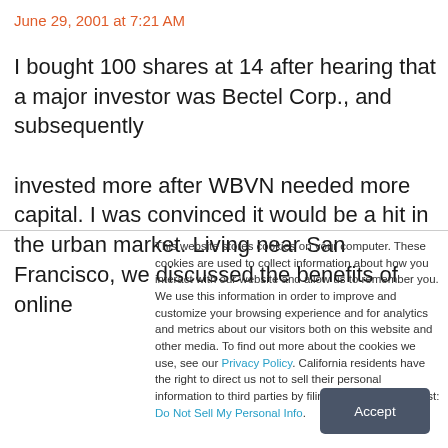June 29, 2001 at 7:21 AM
I bought 100 shares at 14 after hearing that a major investor was Bectel Corp., and subsequently

invested more after WBVN needed more capital. I was convinced it would be a hit in the urban market. Living near San Francisco, we discussed the benefits of online
This website stores cookies on your computer. These cookies are used to collect information about how you interact with our website and allow us to remember you. We use this information in order to improve and customize your browsing experience and for analytics and metrics about our visitors both on this website and other media. To find out more about the cookies we use, see our Privacy Policy. California residents have the right to direct us not to sell their personal information to third parties by filing an Opt-Out Request: Do Not Sell My Personal Info.
Accept